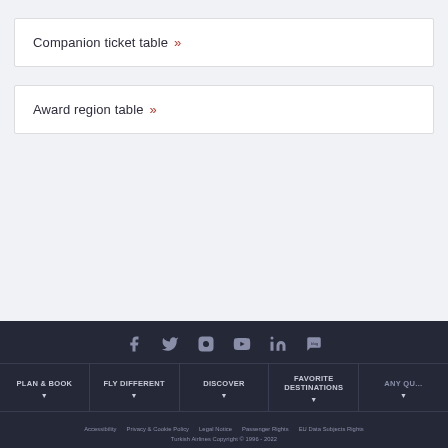Companion ticket table »
Award region table »
Social icons: Facebook, Twitter, Instagram, YouTube, LinkedIn, Blog | PLAN & BOOK | FLY DIFFERENT | DISCOVER | FAVORITE DESTINATIONS | ANY QU... | Accessibility | Privacy & Cookie Policy | Legal Notice | Passenger Rights | EU Data Subjects Rights | Turkish Airlines Copyright © 1996 - 2022